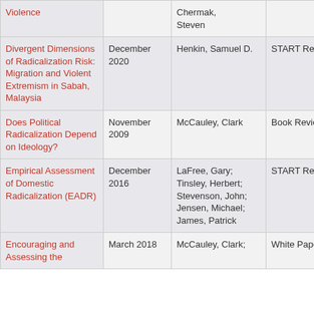| Title | Date | Author | Type |
| --- | --- | --- | --- |
| Violence |  | Chermak, Steven |  |
| Divergent Dimensions of Radicalization Risk: Migration and Violent Extremism in Sabah, Malaysia | December 2020 | Henkin, Samuel D. | START Reports |
| Does Political Radicalization Depend on Ideology? | November 2009 | McCauley, Clark | Book Review |
| Empirical Assessment of Domestic Radicalization (EADR) | December 2016 | LaFree, Gary; Tinsley, Herbert; Stevenson, John; Jensen, Michael; James, Patrick | START Reports |
| Encouraging and Assessing the… | March 2018 | McCauley, Clark; | White Paper |